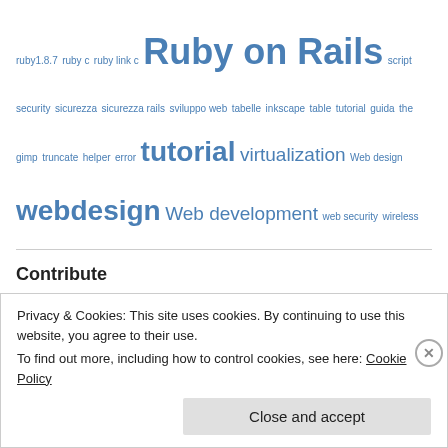ruby1.8.7 ruby c ruby link c Ruby on Rails script security sicurezza sicurezza rails sviluppo web tabelle inkscape table tutorial guida the gimp truncate helper error tutorial virtualization Web design webdesign Web development web security wireless
Contribute
[Figure (logo): Wikipedia globe logo]
Privacy & Cookies: This site uses cookies. By continuing to use this website, you agree to their use. To find out more, including how to control cookies, see here: Cookie Policy